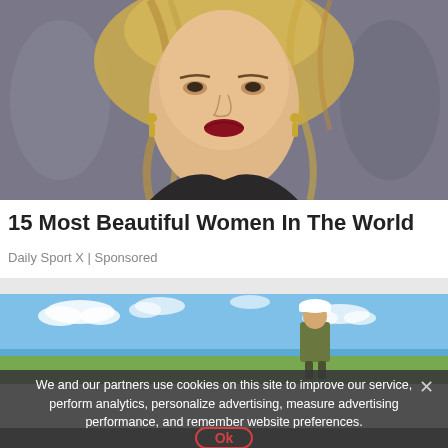[Figure (photo): Close-up photo of a young woman with blonde hair, dark red lipstick, and gold drop earrings, against a blurred background]
15 Most Beautiful Women In The World
Daily Sport X | Sponsored
[Figure (photo): Photo of a construction worker in a hard hat and green jacket standing against a blue sky with clouds]
We and our partners use cookies on this site to improve our service, perform analytics, personalize advertising, measure advertising performance, and remember website preferences.
Ok